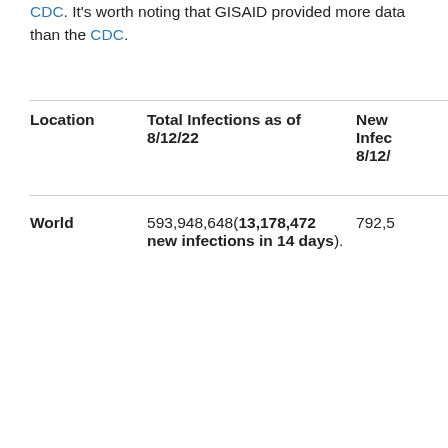CDC. It's worth noting that GISAID provided more data than the CDC.
| Location | Total Infections as of 8/12/22 | New Infec 8/12/ |
| --- | --- | --- |
| World | 593,948,648(13,178,472 new infections in 14 days). | 792,5 |